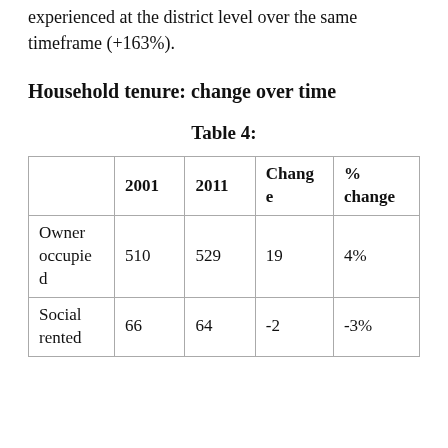increase however is in line with the increase experienced at the district level over the same timeframe (+163%).
Household tenure: change over time
Table 4:
|  | 2001 | 2011 | Change | % change |
| --- | --- | --- | --- | --- |
| Owner occupied | 510 | 529 | 19 | 4% |
| Social rented | 66 | 64 | -2 | -3% |